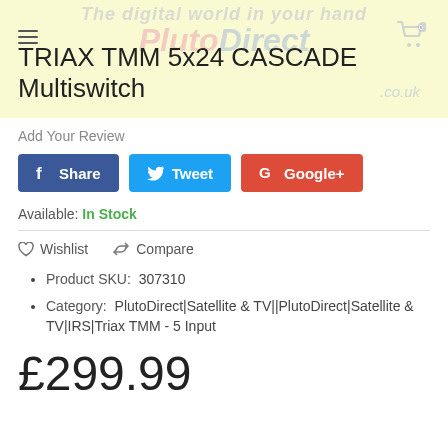TRIAX TMM 5x24 CASCADE Multiswitch
Add Your Review
Share | Tweet | Google+
Available: In Stock
Product SKU:  307310
Category:  PlutoDirect|Satellite & TV||PlutoDirect|Satellite & TV|IRS|Triax TMM - 5 Input
£299.99